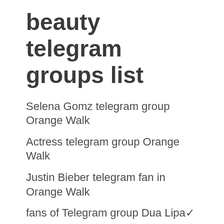beauty telegram groups list
Selena Gomz telegram group Orange Walk
Actress telegram group Orange Walk
Justin Bieber telegram fan in Orange Walk
fans of Telegram group Dua Lipa✓
Friends Corner group Orange Walk
Orange Walk Crypto currency & instant signals telegram groups links